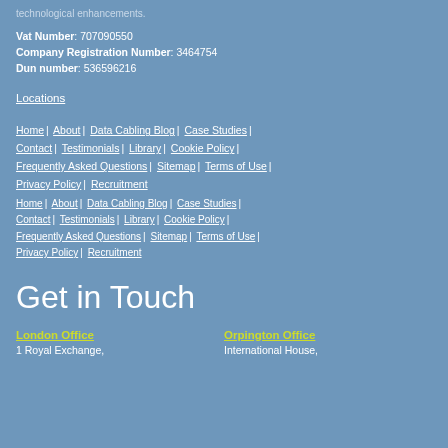technological enhancements.
Vat Number: 707090550
Company Registration Number: 3464754
Dun number: 536596216
Locations
Home | About | Data Cabling Blog | Case Studies | Contact | Testimonials | Library | Cookie Policy | Frequently Asked Questions | Sitemap | Terms of Use | Privacy Policy | Recruitment
Home | About | Data Cabling Blog | Case Studies | Contact | Testimonials | Library | Cookie Policy | Frequently Asked Questions | Sitemap | Terms of Use | Privacy Policy | Recruitment
Get in Touch
London Office
1 Royal Exchange,
Orpington Office
International House,